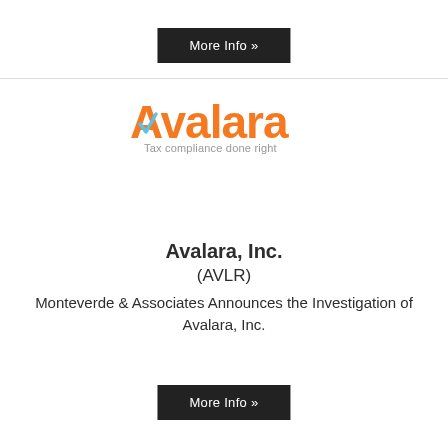More Info »
[Figure (logo): Avalara logo with orange text 'Avalara' and blue checkmark, tagline 'Tax compliance done right']
Avalara, Inc.
(AVLR)
Monteverde & Associates Announces the Investigation of Avalara, Inc.
More Info »